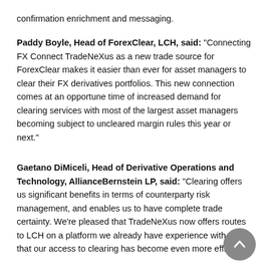confirmation enrichment and messaging.
Paddy Boyle, Head of ForexClear, LCH, said: “Connecting FX Connect TradeNeXus as a new trade source for ForexClear makes it easier than ever for asset managers to clear their FX derivatives portfolios. This new connection comes at an opportune time of increased demand for clearing services with most of the largest asset managers becoming subject to uncleared margin rules this year or next.”
Gaetano DiMiceli, Head of Derivative Operations and Technology, AllianceBernstein LP, said: “Clearing offers us significant benefits in terms of counterparty risk management, and enables us to have complete trade certainty. We’re pleased that TradeNeXus now offers routes to LCH on a platform we already have experience with so that our access to clearing has become even more efficient.”
Mark Salomon, Director, Client and Trading Operations